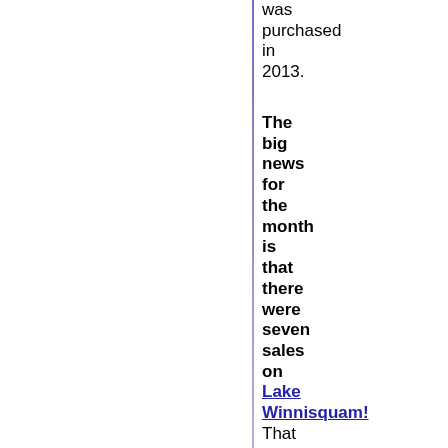was purchased in 2013.
The big news for the month is that there were seven sales on Lake Winnisquam! That brings the total number of sales on